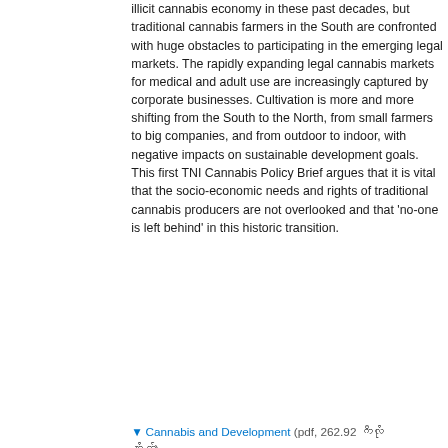illicit cannabis economy in these past decades, but traditional cannabis farmers in the South are confronted with huge obstacles to participating in the emerging legal markets. The rapidly expanding legal cannabis markets for medical and adult use are increasingly captured by corporate businesses. Cultivation is more and more shifting from the South to the North, from small farmers to big companies, and from outdoor to indoor, with negative impacts on sustainable development goals. This first TNI Cannabis Policy Brief argues that it is vital that the socio-economic needs and rights of traditional cannabis producers are not overlooked and that 'no-one is left behind' in this historic transition.
Cannabis and Development (pdf, 262.92 ကီလို ဘိုက်)